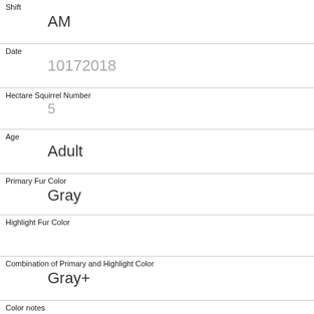| Shift | AM |
| Date | 10172018 |
| Hectare Squirrel Number | 5 |
| Age | Adult |
| Primary Fur Color | Gray |
| Highlight Fur Color |  |
| Combination of Primary and Highlight Color | Gray+ |
| Color notes |  |
| Location | Ground Plane |
| Above Ground Sighter Measurement | FALSE |
| Specific Location |  |